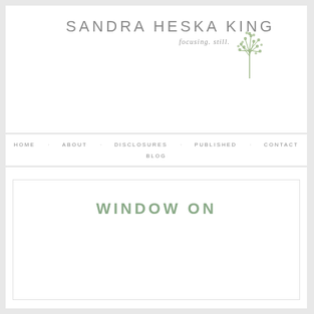SANDRA HESKA KING
focusing. still.
HOME  ABOUT  DISCLOSURES  PUBLISHED  CONTACT  BLOG
WINDOW ON